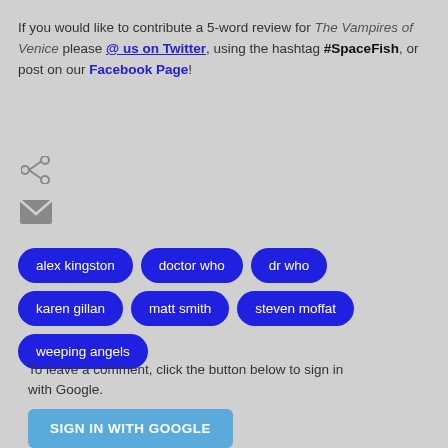If you would like to contribute a 5-word review for The Vampires of Venice please @ us on Twitter, using the hashtag #SpaceFish, or post on our Facebook Page!
[Figure (infographic): Share icon (three connected circles) and email/mail icon (envelope), both in grey, stacked vertically]
alex kingston
doctor who
dr who
karen gillan
matt smith
steven moffat
weeping angels
To leave a comment, click the button below to sign in with Google.
SIGN IN WITH GOOGLE